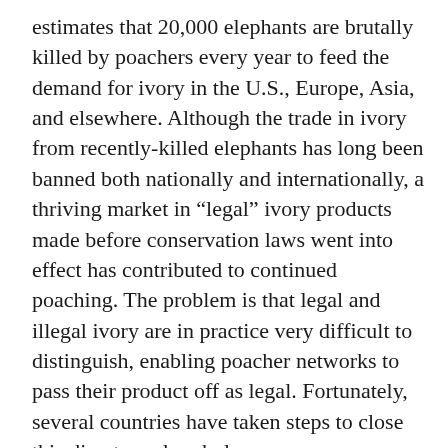estimates that 20,000 elephants are brutally killed by poachers every year to feed the demand for ivory in the U.S., Europe, Asia, and elsewhere. Although the trade in ivory from recently-killed elephants has long been banned both nationally and internationally, a thriving market in “legal” ivory products made before conservation laws went into effect has contributed to continued poaching. The problem is that legal and illegal ivory are in practice very difficult to distinguish, enabling poacher networks to pass their product off as legal. Fortunately, several countries have taken steps to close this disastrous loophole.
In 2016, in a major step forward for elephant survival, the United States imposed a ban on the sale of almost all ivory products. China followed in 2017, and several other European and Asian countries have put in place sweeping bans of their own. While it is too early to say for certain what the long-term effects of these actions will be, the